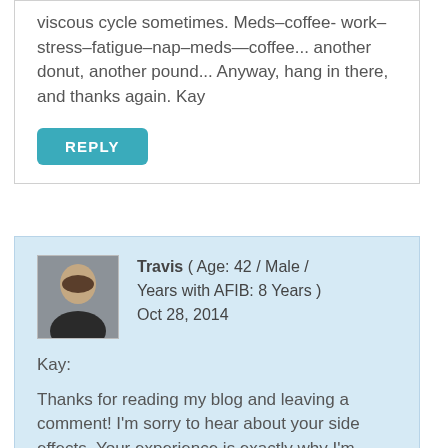viscous cycle sometimes. Meds–coffee- work–stress–fatigue–nap–meds—coffee... another donut, another pound... Anyway, hang in there, and thanks again. Kay
REPLY
Travis ( Age: 42 / Male / Years with AFIB: 8 Years ) Oct 28, 2014
Kay:
Thanks for reading my blog and leaving a comment! I'm sorry to hear about your side effects. Your experience is exactly why I'm